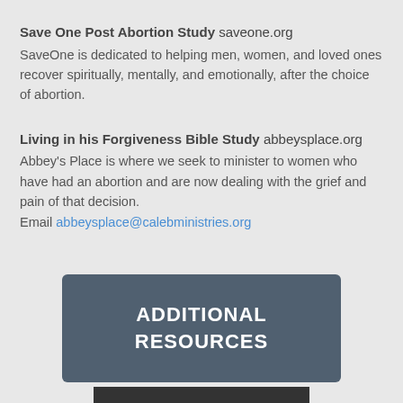Save One Post Abortion Study  saveone.org
SaveOne is dedicated to helping men, women, and loved ones recover spiritually, mentally, and emotionally, after the choice of abortion.
Living in his Forgiveness Bible Study  abbeysplace.org
Abbey's Place is where we seek to minister to women who have had an abortion and are now dealing with the grief and pain of that decision.
Email abbeysplace@calebministries.org
[Figure (other): Blue-grey rectangular button with white bold uppercase text reading ADDITIONAL RESOURCES]
[Figure (other): Dark bar partially visible at bottom of page]